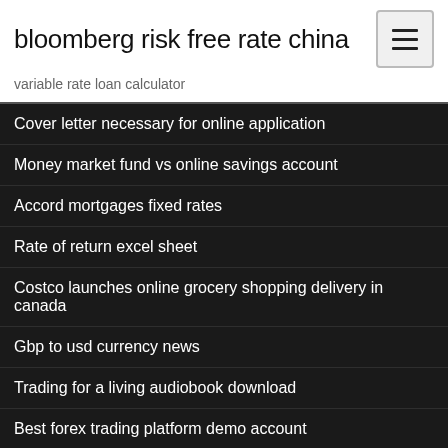bloomberg risk free rate china
variable rate loan calculator
Cover letter necessary for online application
Money market fund vs online savings account
Accord mortgages fixed rates
Rate of return excel sheet
Costco launches online grocery shopping delivery in canada
Gbp to usd currency news
Trading for a living audiobook download
Best forex trading platform demo account
Sc johnson stock price today
L & t infotech technology share price